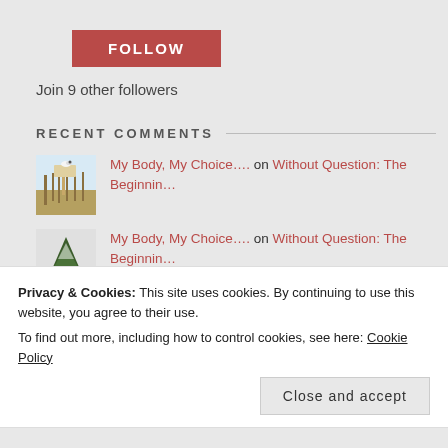FOLLOW
Join 9 other followers
RECENT COMMENTS
My Body, My Choice…. on Without Question: The Beginnin…
My Body, My Choice…. on Without Question: The Beginnin…
Beth Isom on Child Abuse Starts in the Womb
Privacy & Cookies: This site uses cookies. By continuing to use this website, you agree to their use.
To find out more, including how to control cookies, see here: Cookie Policy
Close and accept